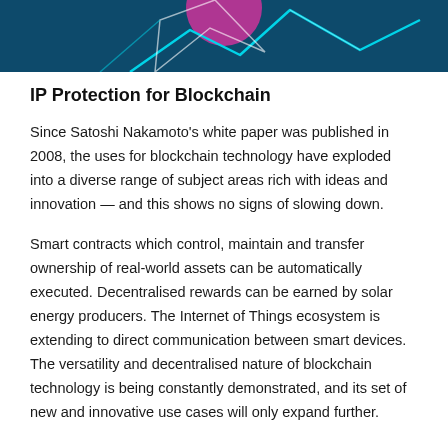[Figure (illustration): Dark teal/navy background with abstract geometric shapes including white angular lines and a partial pink/magenta circle, suggesting a blockchain or technology illustration.]
IP Protection for Blockchain
Since Satoshi Nakamoto's white paper was published in 2008, the uses for blockchain technology have exploded into a diverse range of subject areas rich with ideas and innovation — and this shows no signs of slowing down.
Smart contracts which control, maintain and transfer ownership of real-world assets can be automatically executed. Decentralised rewards can be earned by solar energy producers. The Internet of Things ecosystem is extending to direct communication between smart devices. The versatility and decentralised nature of blockchain technology is being constantly demonstrated, and its set of new and innovative use cases will only expand further.